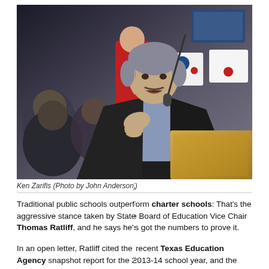[Figure (photo): Ken Zarifis speaking at a podium with a microphone at what appears to be a public meeting or school board hearing. People are seated in the background holding signs. Photo by John Anderson.]
Ken Zarifis (Photo by John Anderson)
Traditional public schools outperform charter schools: That's the aggressive stance taken by State Board of Education Vice Chair Thomas Ratliff, and he says he's got the numbers to prove it.
In an open letter, Ratliff cited the recent Texas Education Agency snapshot report for the 2013-14 school year, and the numbers were